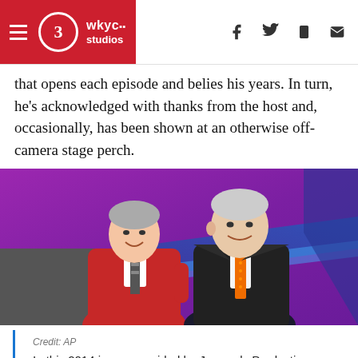wkyc studios — navigation header with hamburger menu, logo, and social/share icons (f, Twitter bird, phone, mail)
that opens each episode and belies his years. In turn, he's acknowledged with thanks from the host and, occasionally, has been shown at an otherwise off-camera stage perch.
[Figure (photo): Two men posing together in front of a purple/blue Jeopardy set backdrop. The man on the left wears a red jacket and striped tie. The man on the right wears a dark pinstripe suit with an orange tie. They are smiling at the camera.]
Credit: AP
In this 2014 image provided by Jeopardy Productions, Inc., show announcer Johnny Gilbert, left, and game show host Alex Trebek